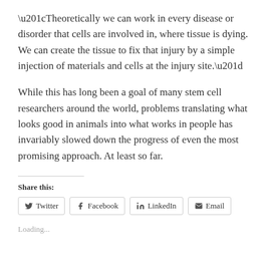“Theoretically we can work in every disease or disorder that cells are involved in, where tissue is dying. We can create the tissue to fix that injury by a simple injection of materials and cells at the injury site.”
While this has long been a goal of many stem cell researchers around the world, problems translating what looks good in animals into what works in people has invariably slowed down the progress of even the most promising approach. At least so far.
Share this:
Twitter  Facebook  LinkedIn  Email
Loading...